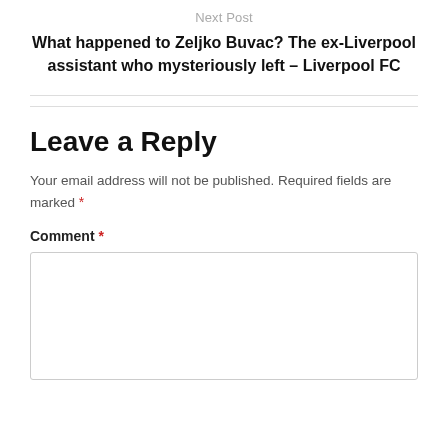Next Post
What happened to Zeljko Buvac? The ex-Liverpool assistant who mysteriously left – Liverpool FC
Your email address will not be published. Required fields are marked *
Leave a Reply
Comment *